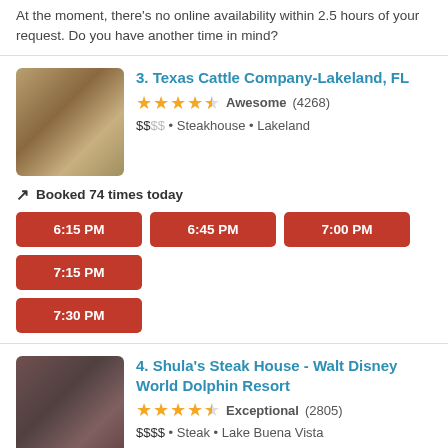At the moment, there's no online availability within 2.5 hours of your request. Do you have another time in mind?
3. Texas Cattle Company-Lakeland, FL
★★★★½ Awesome (4268) $$SS • Steakhouse • Lakeland
Booked 74 times today
6:15 PM  6:45 PM  7:00 PM  7:15 PM  7:30 PM
4. Shula's Steak House - Walt Disney World Dolphin Resort
★★★★½ Exceptional (2805) $$$$ • Steak • Lake Buena Vista